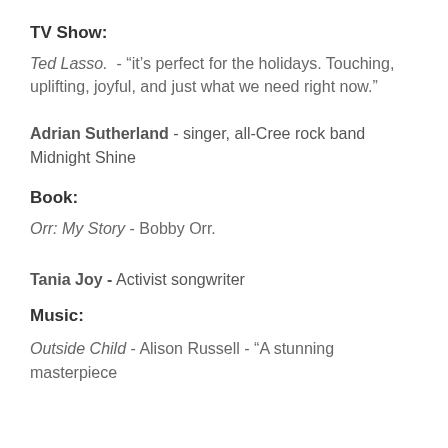TV Show:
Ted Lasso. - "it's perfect for the holidays. Touching, uplifting, joyful, and just what we need right now."
Adrian Sutherland - singer, all-Cree rock band Midnight Shine
Book:
Orr: My Story - Bobby Orr.
Tania Joy - Activist songwriter
Music:
Outside Child - Alison Russell - "A stunning masterpiece